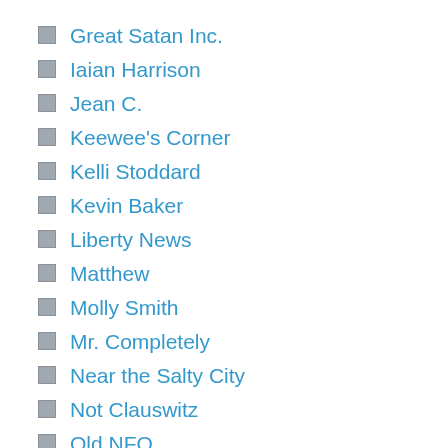Great Satan Inc.
Iaian Harrison
Jean C.
Keewee's Corner
Kelli Stoddard
Kevin Baker
Liberty News
Matthew
Molly Smith
Mr. Completely
Near the Salty City
Not Clauswitz
Old NFO